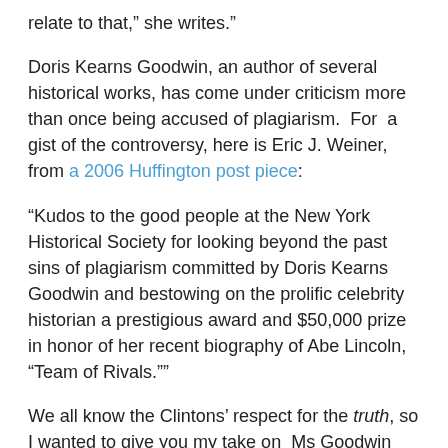relate to that,” she writes.”
Doris Kearns Goodwin, an author of several historical works, has come under criticism more than once being accused of plagiarism.  For  a gist of the controversy, here is Eric J. Weiner, from a 2006 Huffington post piece:
“Kudos to the good people at the New York Historical Society for looking beyond the past sins of plagiarism committed by Doris Kearns Goodwin and bestowing on the prolific celebrity historian a prestigious award and $50,000 prize in honor of her recent biography of Abe Lincoln, “Team of Rivals.””
We all know the Clintons’ respect for the truth, so I wanted to give you my take on  Ms Goodwin and Hillary’s understanding of military history: